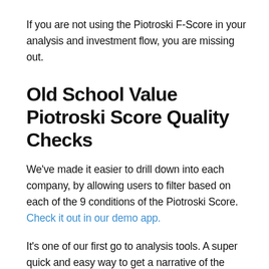If you are not using the Piotroski F-Score in your analysis and investment flow, you are missing out.
Old School Value Piotroski Score Quality Checks
We've made it easier to drill down into each company, by allowing users to filter based on each of the 9 conditions of the Piotroski Score. Check it out in our demo app.
It's one of our first go to analysis tools. A super quick and easy way to get a narrative of the company.